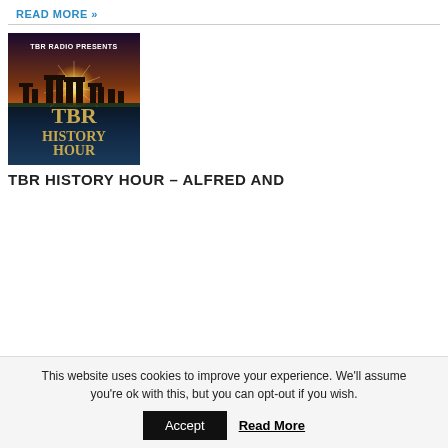READ MORE »
[Figure (illustration): TBR Radio Presents – TBR History Hour podcast cover art showing Stonehenge at sunset with golden text]
TBR HISTORY HOUR – ALFRED AND
This website uses cookies to improve your experience. We'll assume you're ok with this, but you can opt-out if you wish.
Accept   Read More